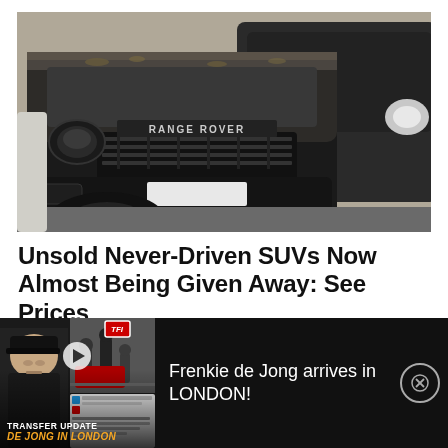[Figure (photo): Dusty black Range Rover Evoque parked next to another black SUV, close-up front view showing dirty hood and grille with RANGE ROVER badge, another dark vehicle visible on right]
Unsold Never-Driven SUVs Now Almost Being Given Away: See Prices
SUV | Search Ads | Sponsored:
[Figure (screenshot): Video thumbnail showing a YouTube/social media video about a transfer update: 'DE JONG IN LONDON' with a man in black cap on left, airport footage in center, TFI badge top right, tweet overlay at bottom right]
Frenkie de Jong arrives in LONDON!